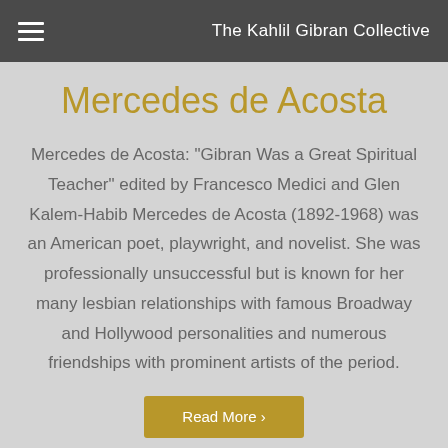The Kahlil Gibran Collective
Mercedes de Acosta
Mercedes de Acosta: "Gibran Was a Great Spiritual Teacher" edited by Francesco Medici and Glen Kalem-Habib Mercedes de Acosta (1892-1968) was an American poet, playwright, and novelist. She was professionally unsuccessful but is known for her many lesbian relationships with famous Broadway and Hollywood personalities and numerous friendships with prominent artists of the period.
Read More >